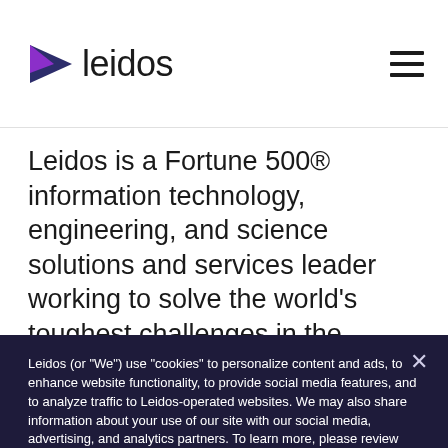leidos
Leidos is a Fortune 500® information technology, engineering, and science solutions and services leader working to solve the world's toughest challenges in the defense, intelligence, civil, and health markets. The company's 43,000 employees support vital missions for
Leidos (or “We”) use “cookies” to personalize content and ads, to enhance website functionality, to provide social media features, and to analyze traffic to Leidos-operated websites. We may also share information about your use of our site with our social media, advertising, and analytics partners. To learn more, please review our Privacy Statement.
Set your cookie preferences